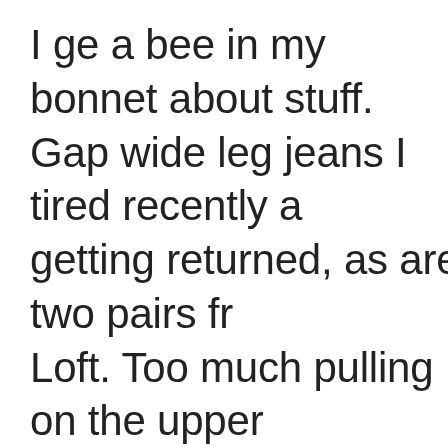I ge a bee in my bonnet about stuff. Gap wide leg jeans I tired recently a getting returned, as are two pairs fr Loft. Too much pulling on the upper thighs on all three. (First pic is of one the pairs LOFT pants.) I've seen Angie say that the pulling, whiskering, is hard to avoid on pear though. The current high rise trend